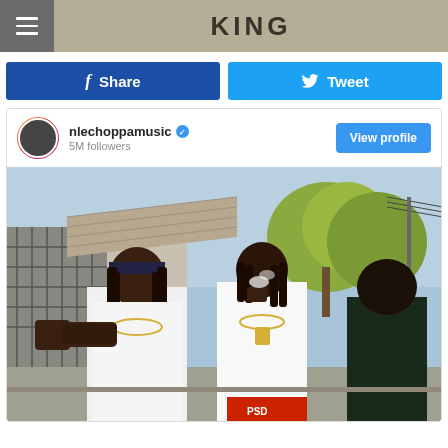KING
Share
Tweet
nlechoppamusic  5M followers
View profile
[Figure (photo): Two young men in white t-shirts standing outdoors on a street. One points with his fist extended, the other holds something to his mouth. Both wear chains. A third person in a dark hoodie stands behind them. Trees and buildings visible in background.]